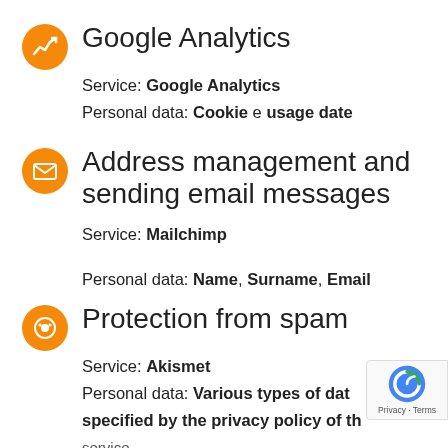Google Analytics
Service: Google Analytics
Personal data: Cookie e usage date
Address management and sending email messages
Service: Mailchimp
Personal data: Name, Surname, Email
Protection from spam
Service: Akismet
Personal data: Various types of data specified by the privacy policy of the service